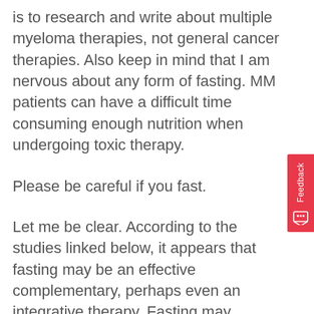is to research and write about multiple myeloma therapies, not general cancer therapies. Also keep in mind that I am nervous about any form of fasting. MM patients can have a difficult time consuming enough nutrition when undergoing toxic therapy.
Please be careful if you fast.
Let me be clear. According to the studies linked below, it appears that fasting may be an effective complementary, perhaps even an integrative therapy. Fasting may